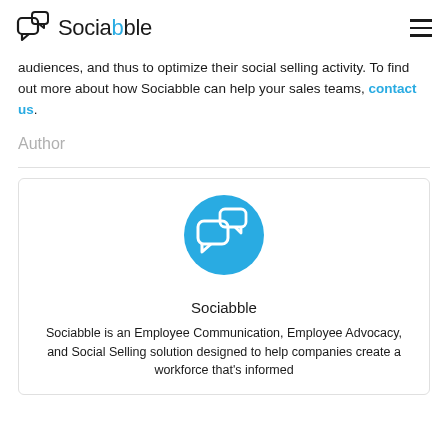Sociabble
audiences, and thus to optimize their social selling activity. To find out more about how Sociabble can help your sales teams, contact us.
Author
[Figure (logo): Sociabble logo icon in a blue circle]
Sociabble
Sociabble is an Employee Communication, Employee Advocacy, and Social Selling solution designed to help companies create a workforce that's informed